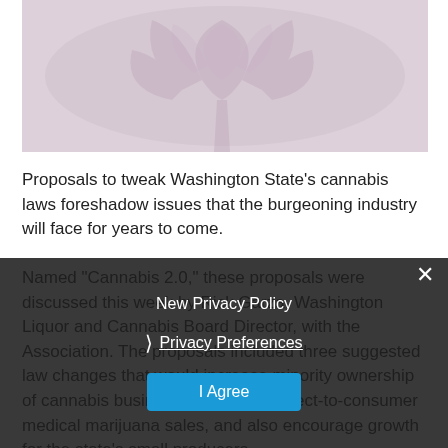[Figure (photo): Close-up photo of cannabis/marijuana plant leaves with a pinkish-purple hue]
Proposals to tweak Washington State's cannabis laws foreshadow issues that the burgeoning industry will face for years to come.
Named “Cannabis 2.0,” these proposals were discussed this week by Rick Garza, Washington Liquor and Cannabis Board Director, with the Association. The proposals included three suggested law changes that would increase minority ownership of cannabis businesses, allow for direct-to-consumer medical marijuana sales, and also encourage growth for the state’s small producers.